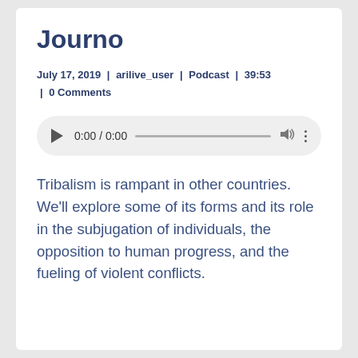Journo
July 17, 2019  |  arilive_user  |  Podcast  |  39:53  |  0 Comments
[Figure (other): Audio player widget showing 0:00 / 0:00 with play button, progress bar, volume icon, and more options icon]
Tribalism is rampant in other countries. We’ll explore some of its forms and its role in the subjugation of individuals, the opposition to human progress, and the fueling of violent conflicts.